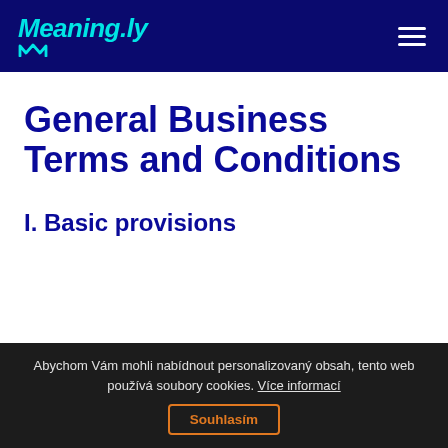meaning.ly
General Business Terms and Conditions
I. Basic provisions
Abychom Vám mohli nabídnout personalizovaný obsah, tento web používá soubory cookies. Více informací  Souhlasím